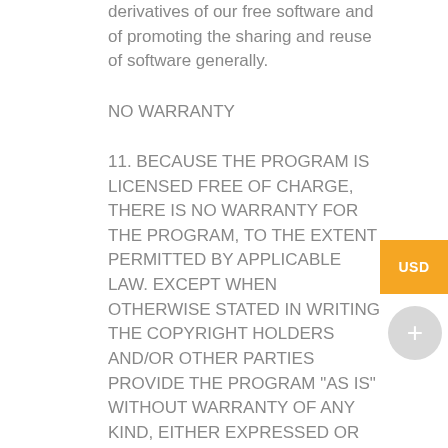derivatives of our free software and of promoting the sharing and reuse of software generally.
NO WARRANTY
11. BECAUSE THE PROGRAM IS LICENSED FREE OF CHARGE, THERE IS NO WARRANTY FOR THE PROGRAM, TO THE EXTENT PERMITTED BY APPLICABLE LAW. EXCEPT WHEN OTHERWISE STATED IN WRITING THE COPYRIGHT HOLDERS AND/OR OTHER PARTIES PROVIDE THE PROGRAM "AS IS" WITHOUT WARRANTY OF ANY KIND, EITHER EXPRESSED OR IMPLIED, INCLUDING, BUT NOT LIMITED TO, THE IMPLIED WARRANTIES OF MERCHANTABILITY AND FITNESS FOR A PARTICULAR PURPOSE. THE ENTIRE RISK AS TO THE QUALITY AND PERFORMANCE OF THE PROGRAM IS WITH YOU.